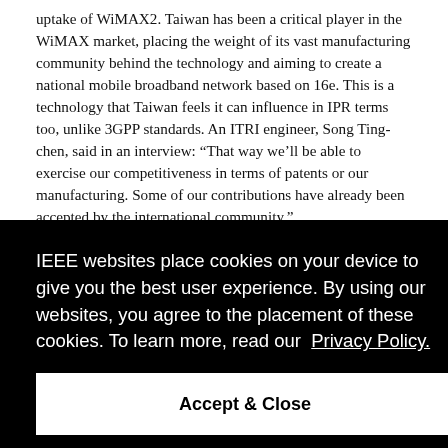uptake of WiMAX2. Taiwan has been a critical player in the WiMAX market, placing the weight of its vast manufacturing community behind the technology and aiming to create a national mobile broadband network based on 16e. This is a technology that Taiwan feels it can influence in IPR terms too, unlike 3GPP standards. An ITRI engineer, Song Ting-chen, said in an interview: “That way we’ll be able to exercise our competitiveness in terms of patents or our manufacturing. Some of our contributions have already been accepted by the international community.”
[Figure (screenshot): Cookie consent overlay on black background with text: 'IEEE websites place cookies on your device to give you the best user experience. By using our websites, you agree to the placement of these cookies. To learn more, read our Privacy Policy.' and an 'Accept & Close' button.]
iger" y large t will be UQ rs, mass) that are needed to drive the manufacturing costs down.